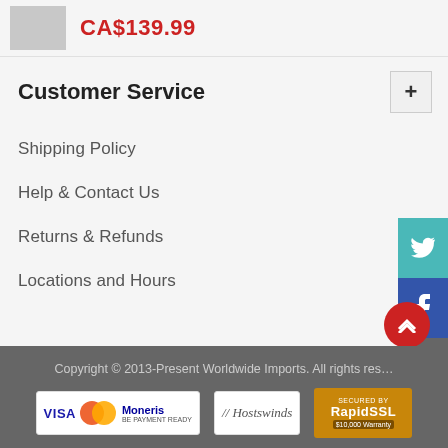CA$139.99
Customer Service
Shipping Policy
Help & Contact Us
Returns & Refunds
Locations and Hours
Copyright © 2013-Present Worldwide Imports. All rights reserved.